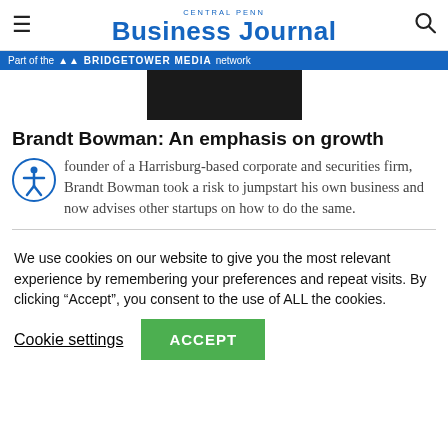Central Penn Business Journal
Part of the BRIDGETOWER MEDIA network
[Figure (photo): Photo of Brandt Bowman in a dark suit]
Brandt Bowman: An emphasis on growth
Co-founder of a Harrisburg-based corporate and securities firm, Brandt Bowman took a risk to jumpstart his own business and now advises other startups on how to do the same.
We use cookies on our website to give you the most relevant experience by remembering your preferences and repeat visits. By clicking “Accept”, you consent to the use of ALL the cookies.
Cookie settings   ACCEPT